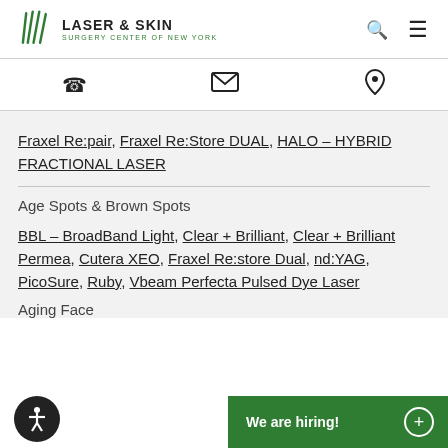[Figure (logo): Laser & Skin Surgery Center of New York logo with green striped icon and search/menu icons]
[Figure (infographic): Contact bar with phone, email envelope, and map pin icons]
Fraxel Re:pair, Fraxel Re:Store DUAL, HALO – HYBRID FRACTIONAL LASER
Age Spots & Brown Spots
BBL – BroadBand Light, Clear + Brilliant, Clear + Brilliant Permea, Cutera XEO, Fraxel Re:store Dual, nd:YAG, PicoSure, Ruby, Vbeam Perfecta Pulsed Dye Laser
Aging Face
We are hiring!